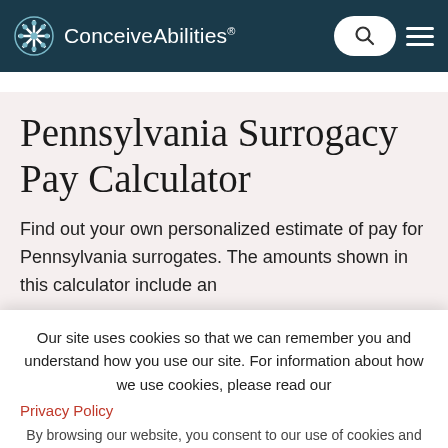ConceiveAbilities
Pennsylvania Surrogacy Pay Calculator
Find out your own personalized estimate of pay for Pennsylvania surrogates. The amounts shown in this calculator include an
Our site uses cookies so that we can remember you and understand how you use our site. For information about how we use cookies, please read our
Privacy Policy
By browsing our website, you consent to our use of cookies and other tracking technologies.
My zip code is
Accept
I'm a